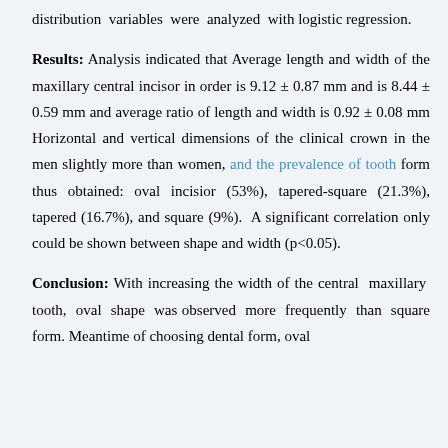distribution variables were analyzed with logistic regression.
Results: Analysis indicated that Average length and width of the maxillary central incisor in order is 9.12 ± 0.87 mm and is 8.44 ± 0.59 mm and average ratio of length and width is 0.92 ± 0.08 mm Horizontal and vertical dimensions of the clinical crown in the men slightly more than women, and the prevalence of tooth form thus obtained: oval incisior (53%), tapered-square (21.3%), tapered (16.7%), and square (9%).  A significant correlation only could be shown between shape and width (p<0.05).
Conclusion: With increasing the width of the central maxillary tooth, oval shape was observed more frequently than square form. Meantime of choosing dental form, oval